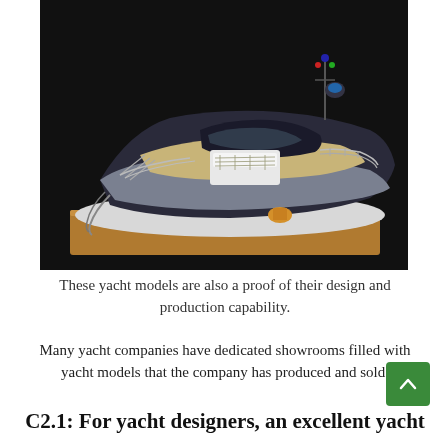[Figure (photo): A detailed scale model of a luxury motor yacht displayed on a wooden base. The model shows a sleek dark-hulled yacht with chrome railings, a helm station, and deck furnishings, photographed against a dark background.]
These yacht models are also a proof of their design and production capability.
Many yacht companies have dedicated showrooms filled with yacht models that the company has produced and sold.
C2.1: For yacht designers, an excellent yacht